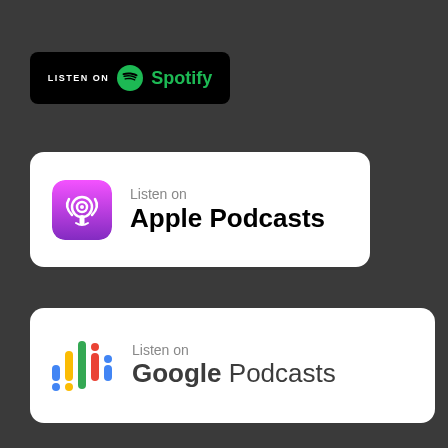[Figure (logo): Listen on Spotify badge - black rounded rectangle with Spotify green logo and text]
[Figure (logo): Listen on Apple Podcasts badge - white rounded rectangle with purple Apple Podcasts icon and text]
[Figure (logo): Listen on Google Podcasts badge - white rounded rectangle with colorful Google Podcasts equalizer icon and text]